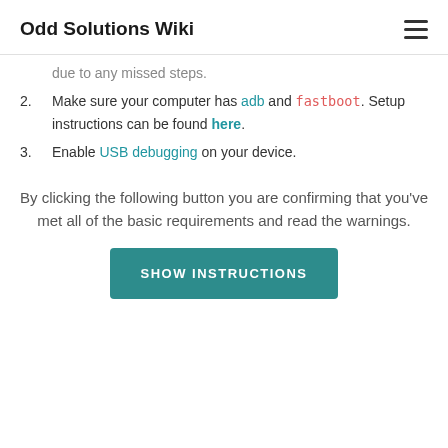Odd Solutions Wiki
due to any missed steps.
Make sure your computer has adb and fastboot. Setup instructions can be found here.
Enable USB debugging on your device.
By clicking the following button you are confirming that you've met all of the basic requirements and read the warnings.